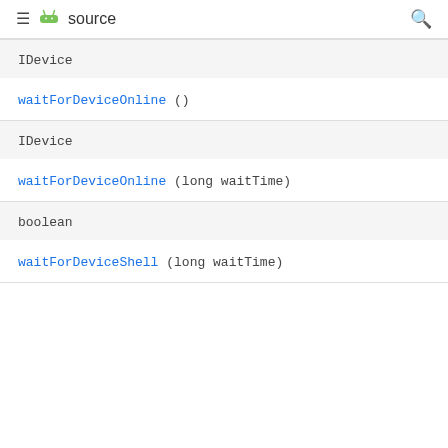≡ android source 🔍
IDevice
waitForDeviceOnline ()
IDevice
waitForDeviceOnline (long waitTime)
boolean
waitForDeviceShell (long waitTime)